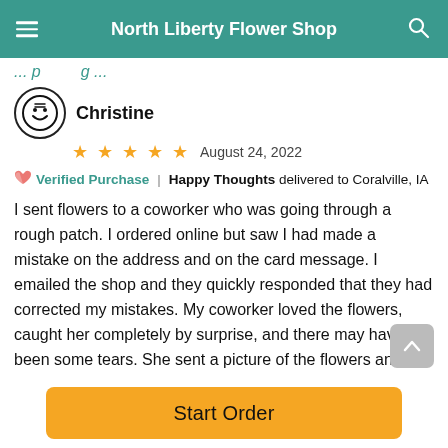North Liberty Flower Shop
(partially visible text in teal)
Christine
★★★★★ August 24, 2022
Verified Purchase | Happy Thoughts delivered to Coralville, IA
I sent flowers to a coworker who was going through a rough patch. I ordered online but saw I had made a mistake on the address and on the card message. I emailed the shop and they quickly responded that they had corrected my mistakes. My coworker loved the flowers, caught her completely by surprise, and there may have been some tears. She sent a picture of the flowers and they were really beautiful.
Start Order